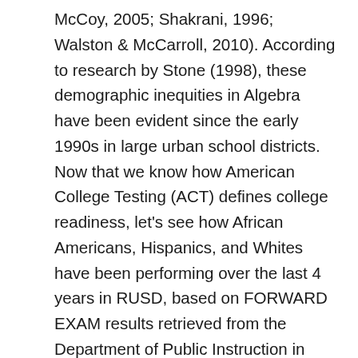McCoy, 2005; Shakrani, 1996; Walston & McCarroll, 2010). According to research by Stone (1998), these demographic inequities in Algebra have been evident since the early 1990s in large urban school districts. Now that we know how American College Testing (ACT) defines college readiness, let's see how African Americans, Hispanics, and Whites have been performing over the last 4 years in RUSD, based on FORWARD EXAM results retrieved from the Department of Public Instruction in Madison, Wisconsin (2019-20). State scores from the FORWARD exam are strong predictors of determining which students are ready to enter college ready to endure the rigor and expectations college present. In addition, students are not enrolled in any remedial course. For example, when we consider Park High School 2019 student achievement scores in math, 98.2% of African American students did not score at proficiency on the